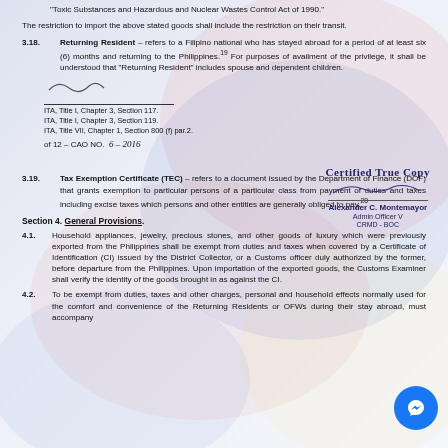"Toxic Substances and Hazardous and Nuclear Wastes Control Act of 1990."
The restriction to import the above stated goods shall include the restriction on their transit.
3.18. Returning Resident – refers to a Filipino national who has stayed abroad for a period of at least six (6) months and returning to the Philippines.19 For purposes of availment of the privilege, it shall be understood that "Returning Resident" includes spouse and dependent children.
ITA, Title I, Chapter 3, Section 117.
ITA, Title I, Chapter 3, Section 119.
ITA, Title VII, Chapter 1, Section 800 (f) par.2.
[Figure (illustration): Certified True Copy stamp and signature block: Alexander C. Montemayor, Admin Officer V, CRMD - BOC]
of 12 – CAO NO.  6 – 2016
3.19. Tax Exemption Certificate (TEC) – refers to a document issued by the Department of Finance (DOF) that grants exemption to particular persons of a particular class from payment of duties and taxes including excise taxes which persons and other entities are generally obliged to pay.20
Section 4. General Provisions.
4.1. Household appliances, jewelry, precious stones, and other goods of luxury which were previously exported from the Philippines shall be exempt from duties and taxes when covered by a Certificate of Identification (CI) issued by the District Collector, or a Customs officer duly authorized by the former, before departure from the Philippines. Upon importation of the exported goods, the Customs Examiner shall verify the identity of the goods brought in as against the CI.
4.2. To be exempt from duties, taxes and other charges, personal and household effects normally used for the comfort and convenience of the Returning Residents or OFWs during their stay abroad, must accompany